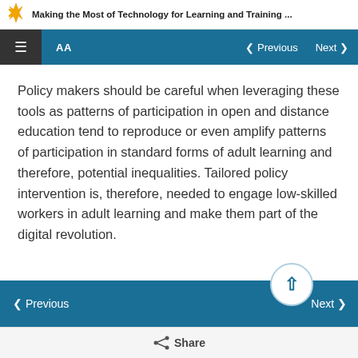Making the Most of Technology for Learning and Training ...
Policy makers should be careful when leveraging these tools as patterns of participation in open and distance education tend to reproduce or even amplify patterns of participation in standard forms of adult learning and therefore, potential inequalities. Tailored policy intervention is, therefore, needed to engage low-skilled workers in adult learning and make them part of the digital revolution.
‹ Previous   Next ›